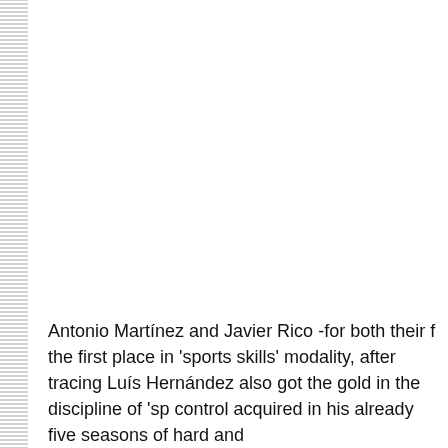Antonio Martínez and Javier Rico -for both their f the first place in 'sports skills' modality, after tracing Luís Hernández also got the gold in the discipline of 'sp control acquired in his already five seasons of hard and